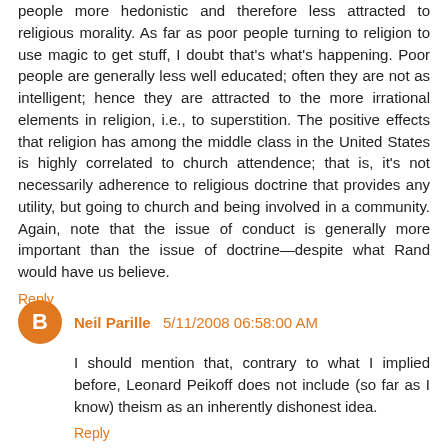people more hedonistic and therefore less attracted to religious morality. As far as poor people turning to religion to use magic to get stuff, I doubt that's what's happening. Poor people are generally less well educated; often they are not as intelligent; hence they are attracted to the more irrational elements in religion, i.e., to superstition. The positive effects that religion has among the middle class in the United States is highly correlated to church attendence; that is, it's not necessarily adherence to religious doctrine that provides any utility, but going to church and being involved in a community. Again, note that the issue of conduct is generally more important than the issue of doctrine—despite what Rand would have us believe.
Reply
Neil Parille 5/11/2008 06:58:00 AM
I should mention that, contrary to what I implied before, Leonard Peikoff does not include (so far as I know) theism as an inherently dishonest idea.
Reply